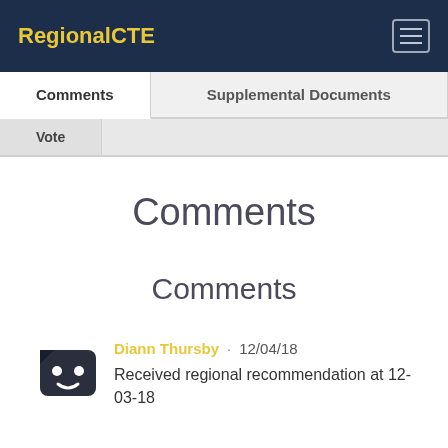RegionalCTE
Comments
Vote
Supplemental Documents
Comments
Comments
Diann Thursby · 12/04/18
Received regional recommendation at 12-03-18